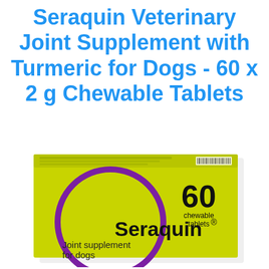Seraquin Veterinary Joint Supplement with Turmeric for Dogs - 60 x 2 g Chewable Tablets
[Figure (photo): Product box of Seraquin Joint Supplement for dogs - yellow-green box with purple circle logo, showing '60 chewable tablets', brand name Seraquin with registered trademark, and text 'Joint supplement for dogs']